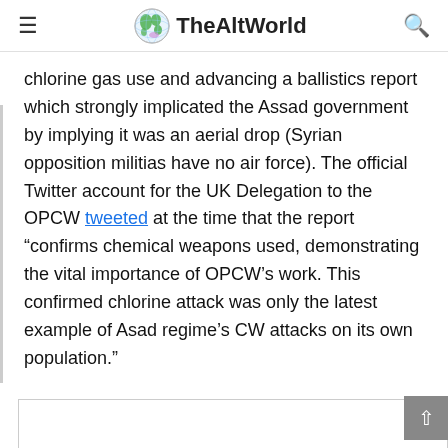TheAltWorld
chlorine gas use and advancing a ballistics report which strongly implicated the Assad government by implying it was an aerial drop (Syrian opposition militias have no air force). The official Twitter account for the UK Delegation to the OPCW tweeted at the time that the report “confirms chemical weapons used, demonstrating the vital importance of OPCW’s work. This confirmed chlorine attack was only the latest example of Asad regime’s CW attacks on its own population.”